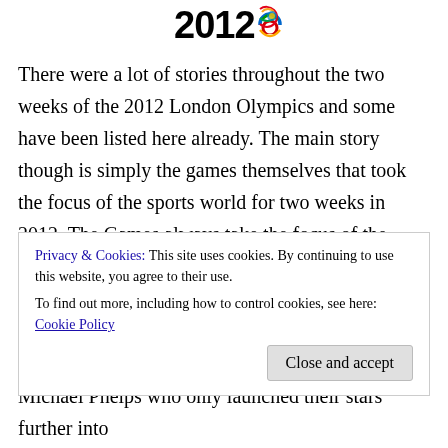[Figure (logo): 2012 London Olympics logo with the stylized '2012' text and colored Olympic rings graphic]
There were a lot of stories throughout the two weeks of the 2012 London Olympics and some have been listed here already. The main story though is simply the games themselves that took the focus of the sports world for two weeks in 2012. The Games always take the focus of the sports world but all have many different reasons for talking focus. This year the London Olympics were simply a good clean affair. There were controversies including the boxing judging and the few other questionable decisions in the
Privacy & Cookies: This site uses cookies. By continuing to use this website, you agree to their use.
To find out more, including how to control cookies, see here: Cookie Policy
Michael Phelps who only launched their stars further into